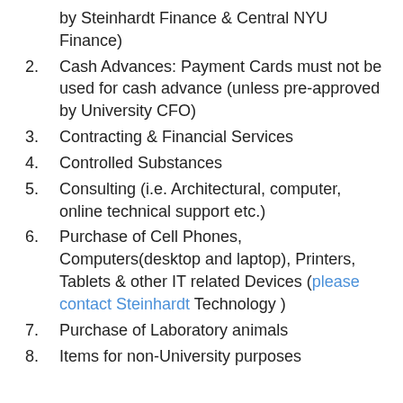by Steinhardt Finance & Central NYU Finance)
2. Cash Advances: Payment Cards must not be used for cash advance (unless pre-approved by University CFO)
3. Contracting & Financial Services
4. Controlled Substances
5. Consulting (i.e. Architectural, computer, online technical support etc.)
6. Purchase of Cell Phones, Computers(desktop and laptop), Printers, Tablets & other IT related Devices (please contact Steinhardt Technology )
7. Purchase of Laboratory animals
8. Items for non-University purposes